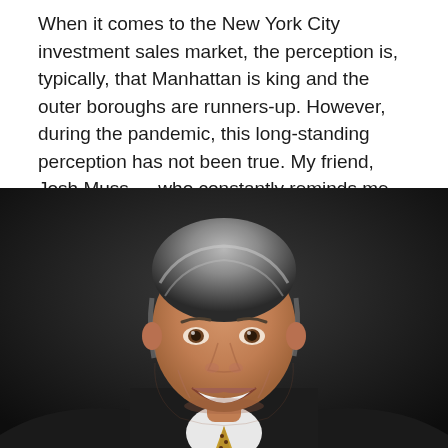When it comes to the New York City investment sales market, the perception is, typically, that Manhattan is king and the outer boroughs are runners-up. However, during the pandemic, this long-standing perception has not been true. My friend, Josh Muss — who constantly reminds me that they are not the "outer boroughs," they are the… Read more »
[Figure (photo): Professional headshot of a middle-aged man with silver-grey hair, smiling broadly, wearing a dark suit with a white dress shirt and a patterned tie, photographed against a dark background.]